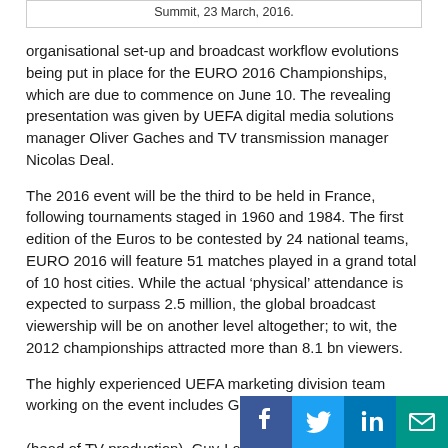Summit, 23 March, 2016.
organisational set-up and broadcast workflow evolutions being put in place for the EURO 2016 Championships, which are due to commence on June 10. The revealing presentation was given by UEFA digital media solutions manager Oliver Gaches and TV transmission manager Nicolas Deal.
The 2016 event will be the third to be held in France, following tournaments staged in 1960 and 1984. The first edition of the Euros to be contested by 24 national teams, EURO 2016 will feature 51 matches played in a grand total of 10 host cities. While the actual ‘physical’ attendance is expected to surpass 2.5 million, the global broadcast viewership will be on another level altogether; to wit, the 2012 championships attracted more than 8.1 bn viewers.
The highly experienced UEFA marketing division team working on the event includes Gaches and Deal al… (head of TV production), Guy-Laurent Ep…